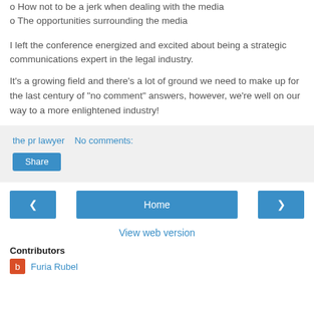o How not to be a jerk when dealing with the media
o The opportunities surrounding the media
I left the conference energized and excited about being a strategic communications expert in the legal industry.
It’s a growing field and there’s a lot of ground we need to make up for the last century of “no comment” answers, however, we’re well on our way to a more enlightened industry!
the pr lawyer    No comments:
Share
Home
View web version
Contributors
Furia Rubel